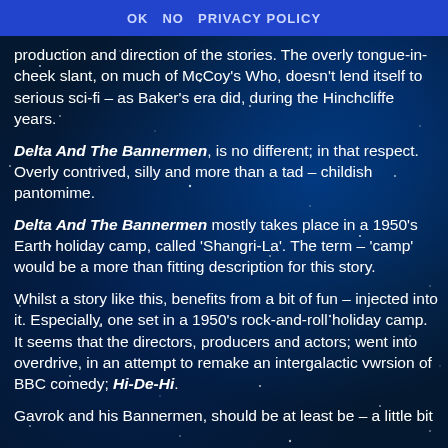OK   NO   PRIVACY POLICY
production and direction of the stories. The overly tongue-in-cheek slant, on much of McCoy's Who, doesn't lend itself to serious sci-fi – as Baker's era did, during the Hinchcliffe years.
Delta And The Bannermen, is no different; in that respect. Overly contrived, silly and more than a tad – childish pantomime.
Delta And The Bannermen mostly takes place in a 1950's Earth holiday camp, called 'Shangri-La'. The term – 'camp' would be a more than fitting description for this story.
Whilst a story like this, benefits from a bit of fun – injected into it. Especially, one set in a 1950's rock-and-roll holiday camp. It seems that the directors, producers and actors; went into overdrive, in an attempt to remake an intergalactic vwrsion of BBC comedy; Hi-De-Hi.
Gavrok and his Bannermen, should be at least be – a little bit